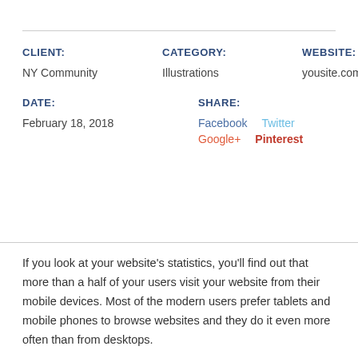CLIENT: NY Community   CATEGORY: Illustrations   WEBSITE: yousite.com
DATE: February 18, 2018   SHARE: Facebook  Twitter  Google+  Pinterest
If you look at your website's statistics, you'll find out that more than a half of your users visit your website from their mobile devices. Most of the modern users prefer tablets and mobile phones to browse websites and they do it even more often than from desktops.
When you create your mobile app or test your responsive